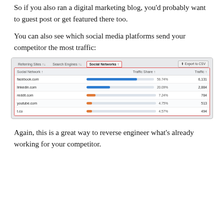So if you also ran a digital marketing blog, you'd probably want to guest post or get featured there too.
You can also see which social media platforms send your competitor the most traffic:
[Figure (screenshot): Screenshot of a social media traffic analytics tool showing a table with Social Network, Traffic Share, and Traffic columns. Tabs shown: Referring Sites, Search Engines, Social Networks (active, highlighted in red border). Data rows: facebook.com 56.74% 6,131; linkedin.com 20.09% 2,884; reddit.com 7.24% 784; youtube.com 4.75% 513; t.co 4.57% 494. An Export to CSV button is shown top right.]
Again, this is a great way to reverse engineer what's already working for your competitor.